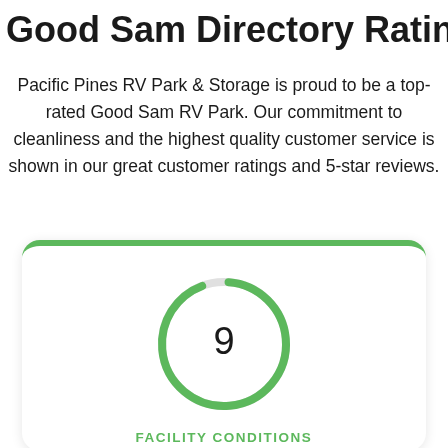Good Sam Directory Ratings
Pacific Pines RV Park & Storage is proud to be a top-rated Good Sam RV Park. Our commitment to cleanliness and the highest quality customer service is shown in our great customer ratings and 5-star reviews.
[Figure (other): A circular rating gauge with a green arc showing a rating of 9, inside a white rounded card with a green top border. Below the gauge is the label 'FACILITY CONDITIONS'.]